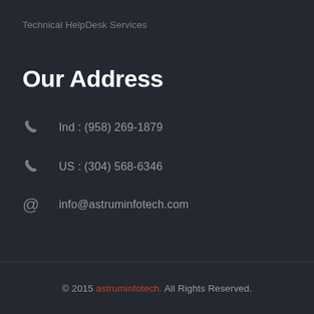Technical HelpDesk Services
Our Address
Ind : (958) 269-1879
US : (304) 568-6346
info@astruminfotech.com
© 2015 astruminfotech. All Rights Reserved.